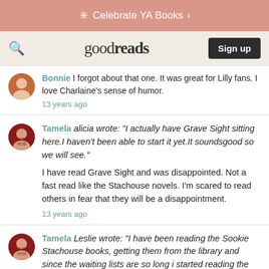Celebrate YA Books >
[Figure (logo): Goodreads logo with search icon and Sign up button]
Bonnie I forgot about that one. It was great for Lilly fans. I love Charlaine's sense of humor. 13 years ago
Tamela alicia wrote: "I actually have Grave Sight sitting here.I haven't been able to start it yet.It soundsgood so we will see." I have read Grave Sight and was disappointed. Not a fast read like the Stachouse novels. I'm scared to read others in fear that they will be a disappointment. 13 years ago
Tamela Leslie wrote: "I have been reading the Sookie Stachouse books, getting them from the library and since the waiting lists are so long i started reading the Harper Connelly Stories. Grave Sight Grave Surprise and A..." That's how I was able to read Grave Sight, the waiting list at